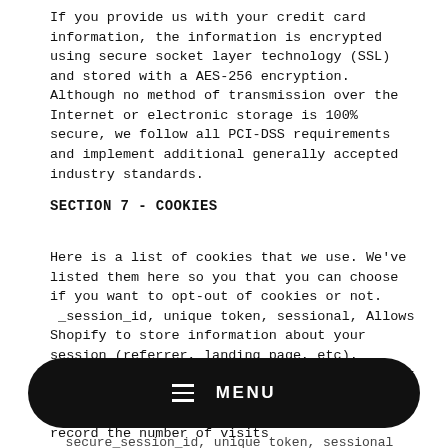If you provide us with your credit card information, the information is encrypted using secure socket layer technology (SSL) and stored with a AES-256 encryption.  Although no method of transmission over the Internet or electronic storage is 100% secure, we follow all PCI-DSS requirements and implement additional generally accepted industry standards.
SECTION 7 - COOKIES
Here is a list of cookies that we use. We've listed them here so you that you can choose if you want to opt-out of cookies or not.  _session_id, unique token, sessional, Allows Shopify to store information about your session (referrer, landing page, etc).  _shopify_visit, no data held, Persistent for 30 minutes from the last visit, Used by our website provider's internal stats tracker to record the number of visits  _shopify_uniq, no data held, expires midnight (relative to the visitor) of the next day, Counts the number of visits to a store by a single customer. _secure_session_id, unique token, sessional